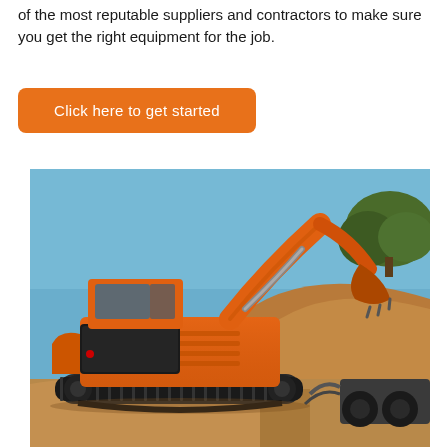of the most reputable suppliers and contractors to make sure you get the right equipment for the job.
Click here to get started
[Figure (photo): Large orange crawler excavator (Hitachi or similar) on a construction site with blue sky, earthen hillside, trees in background, and truck undercarriage visible to the right.]